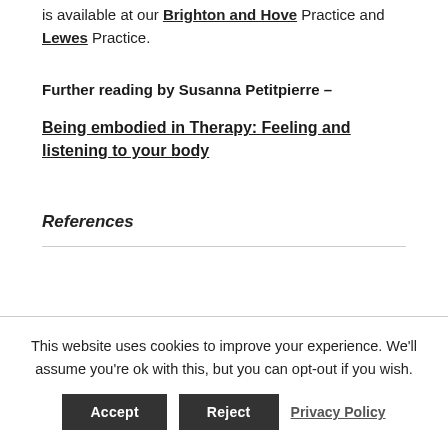is available at our Brighton and Hove Practice and Lewes Practice.
Further reading by Susanna Petitpierre –
Being embodied in Therapy: Feeling and listening to your body
References
This website uses cookies to improve your experience. We'll assume you're ok with this, but you can opt-out if you wish.
Accept  Reject  Privacy Policy